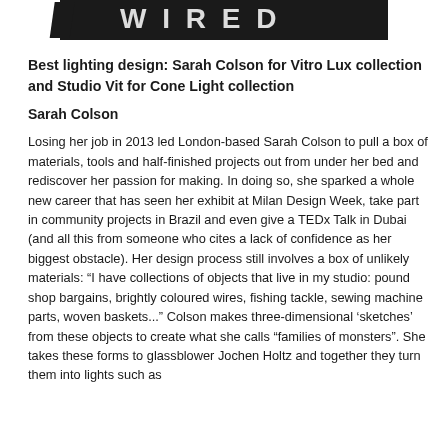[Figure (logo): Partial view of a logo/banner image at the top of the page, showing stylized white text on black background, partially cropped]
Best lighting design: Sarah Colson for Vitro Lux collection and Studio Vit for Cone Light collection
Sarah Colson
Losing her job in 2013 led London-based Sarah Colson to pull a box of materials, tools and half-finished projects out from under her bed and rediscover her passion for making. In doing so, she sparked a whole new career that has seen her exhibit at Milan Design Week, take part in community projects in Brazil and even give a TEDx Talk in Dubai (and all this from someone who cites a lack of confidence as her biggest obstacle). Her design process still involves a box of unlikely materials: “I have collections of objects that live in my studio: pound shop bargains, brightly coloured wires, fishing tackle, sewing machine parts, woven baskets...” Colson makes three-dimensional ‘sketches’ from these objects to create what she calls “families of monsters”. She takes these forms to glassblower Jochen Holtz and together they turn them into lights such as